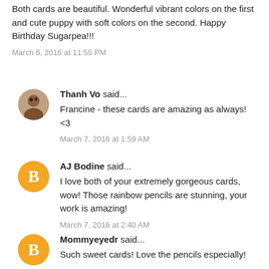Both cards are beautiful. Wonderful vibrant colors on the first and cute puppy with soft colors on the second. Happy Birthday Sugarpea!!!
March 6, 2016 at 11:55 PM
Thanh Vo said...
Francine - these cards are amazing as always! <3
March 7, 2016 at 1:59 AM
AJ Bodine said...
I love both of your extremely gorgeous cards, wow! Those rainbow pencils are stunning, your work is amazing!
March 7, 2016 at 2:40 AM
Mommyeyedr said...
Such sweet cards! Love the pencils especially!